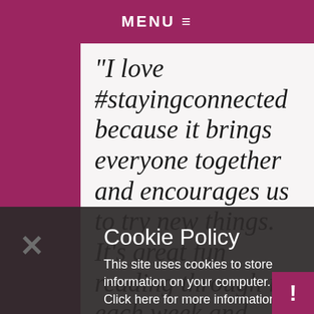MENU ≡
"I love #stayingconnected because it brings everyone together and encourages us to try new things. It’s great fun reading through it each week and having a go at the quizzes." Emma
Cookie Policy
This site uses cookies to store information on your computer. Click here for more information
Allow Cookies   Deny Cookies